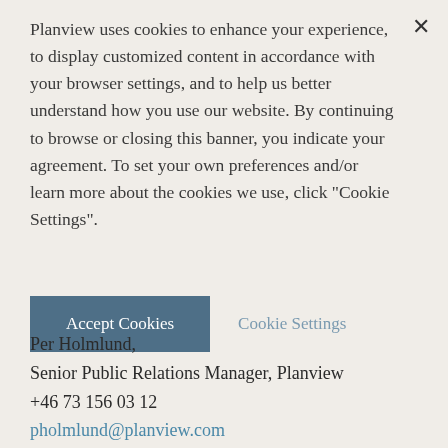Planview uses cookies to enhance your experience, to display customized content in accordance with your browser settings, and to help us better understand how you use our website. By continuing to browse or closing this banner, you indicate your agreement. To set your own preferences and/or learn more about the cookies we use, click "Cookie Settings".
Accept Cookies
Cookie Settings
Per Holmlund,
Senior Public Relations Manager, Planview
+46 73 156 03 12
pholmlund@planview.com